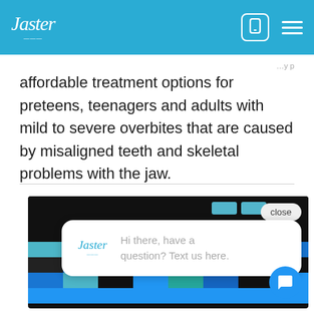Jaster (logo) — navigation header with phone icon and menu icon
affordable treatment options for preteens, teenagers and adults with mild to severe overbites that are caused by misaligned teeth and skeletal problems with the jaw.
[Figure (screenshot): Website screenshot showing a chat popup with Jaster logo, text 'Hi there, have a question? Text us here.' with a close button and chat FAB button, over a colorful pixel/tile mosaic background.]